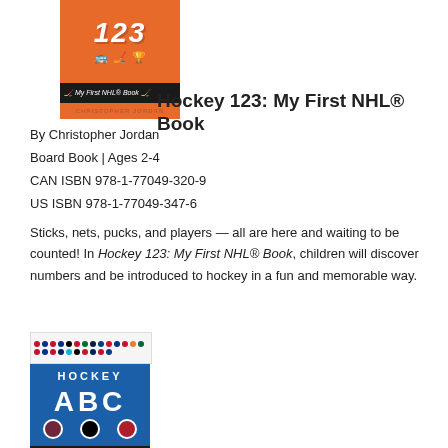[Figure (illustration): Book cover for 'Hockey 123: My First NHL Book' with orange background showing large white numerals 123 and small hockey-related icons below, with NHL logo bar and author name bar at bottom]
Hockey 123: My First NHL® Book
By Christopher Jordan
Board Book | Ages 2-4
CAN ISBN 978-1-77049-320-9
US ISBN 978-1-77049-347-6
Sticks, nets, pucks, and players — all are here and waiting to be counted! In Hockey 123: My First NHL® Book, children will discover numbers and be introduced to hockey in a fun and memorable way.
[Figure (illustration): Book cover for 'Hockey ABC: My First NHL Book' with NHL team logos strip at top and blue background showing HOCKEY text and large ABC letters with team logos at bottom]